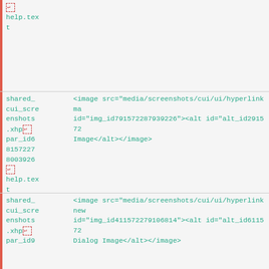| [return] help.tex t | <image src="media/screenshots/cui/ui/hyperlinkma... id="img_id791572287939226"><alt id="alt_id29157... Image</alt></antml:image> |
| shared_ cui_scre enshots .xhp [return] par_id6 8157227 8003926 [return] help.tex t | <image src="media/screenshots/cui/ui/hyperlinkma id="img_id791572287939226"><alt id="alt_id291572 Image</alt></antml:image> |
| shared_ cui_scre enshots .xhp [return] par_id9 | <image src="media/screenshots/cui/ui/hyperlinknew id="img_id411572279106814"><alt id="alt_id611572 Dialog Image</alt></antml:image> |